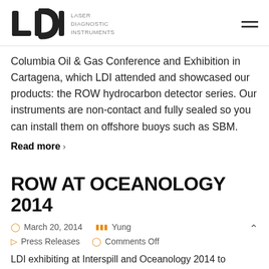LDI — Laser Diagnostic Instruments
Columbia Oil & Gas Conference and Exhibition in Cartagena, which LDI attended and showcased our products: the ROW hydrocarbon detector series. Our instruments are non-contact and fully sealed so you can install them on offshore buoys such as SBM.
Read more ›
ROW AT OCEANOLOGY 2014
March 20, 2014   Yung   Press Releases   Comments Off
LDI exhibiting at Interspill and Oceanology 2014 to